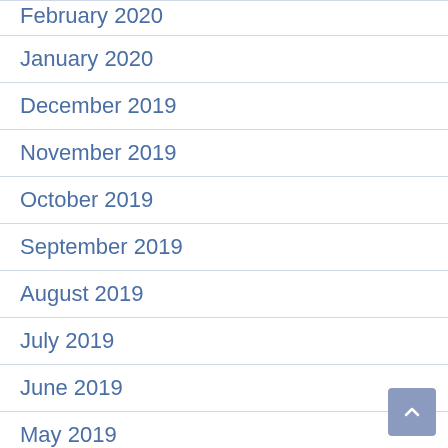February 2020
January 2020
December 2019
November 2019
October 2019
September 2019
August 2019
July 2019
June 2019
May 2019
April 2019
March 2019
February 2019